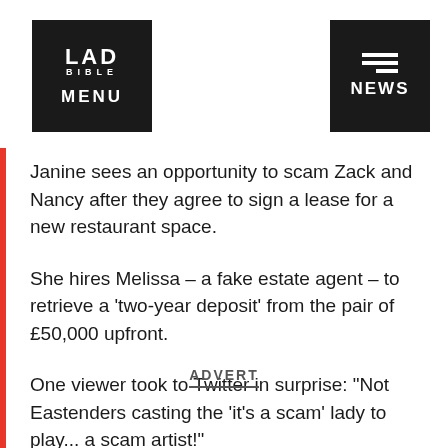LAD BIBLE MENU | NEWS
Janine sees an opportunity to scam Zack and Nancy after they agree to sign a lease for a new restaurant space.
She hires Melissa – a fake estate agent – to retrieve a 'two-year deposit' from the pair of £50,000 upfront.
One viewer took to Twitter in surprise: "Not Eastenders casting the 'it's a scam' lady to play... a scam artist!"
ADVERT